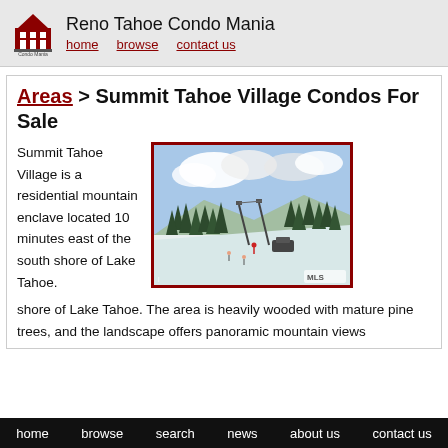Reno Tahoe Condo Mania — home | browse | contact us
Areas > Summit Tahoe Village Condos For Sale
[Figure (photo): Snow-covered ski resort area with pine trees, ski lifts, and mountain scenery under partly cloudy skies. MLS watermark in bottom right corner.]
Summit Tahoe Village is a residential mountain enclave located 10 minutes east of the south shore of Lake Tahoe. The area is heavily wooded with mature pine trees, and the landscape offers panoramic mountain views
home   browse   search   news   about us   contact us